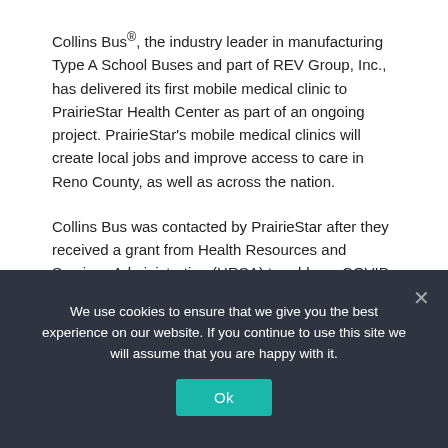Collins Bus®, the industry leader in manufacturing Type A School Buses and part of REV Group, Inc., has delivered its first mobile medical clinic to PrairieStar Health Center as part of an ongoing project. PrairieStar's mobile medical clinics will create local jobs and improve access to care in Reno County, as well as across the nation.
Collins Bus was contacted by PrairieStar after they received a grant from Health Resources and Services Administration (HRSA) to address COVID-19 related issues. Both companies worked closely on the design to ensure the final product included the features and
We use cookies to ensure that we give you the best experience on our website. If you continue to use this site we will assume that you are happy with it.